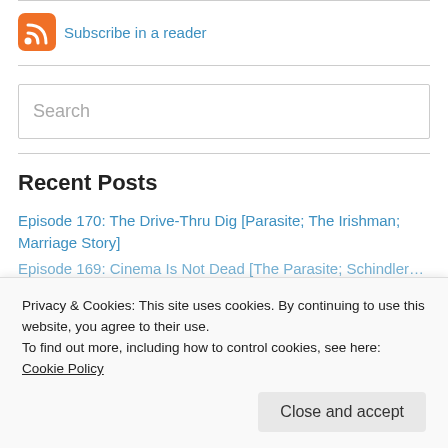[Figure (logo): RSS feed icon — orange rounded square with white RSS signal symbol]
Subscribe in a reader
Search
Recent Posts
Episode 170: The Drive-Thru Dig [Parasite; The Irishman; Marriage Story]
Privacy & Cookies: This site uses cookies. By continuing to use this website, you agree to their use.
To find out more, including how to control cookies, see here: Cookie Policy
Close and accept